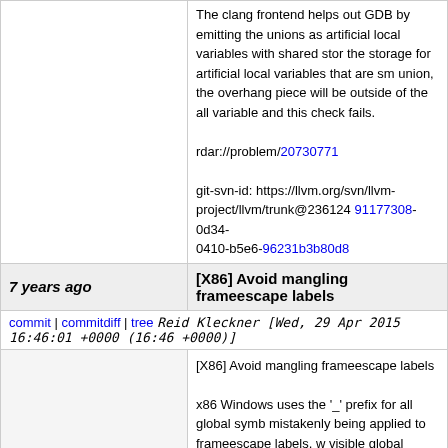The clang frontend helps out GDB by emitting the unions as artificial local variables with shared storage the storage for artificial local variables that are smaller than the union, the overhang piece will be outside of the allocated variable and this check fails.

rdar://problem/20730771

git-svn-id: https://llvm.org/svn/llvm-project/llvm/trunk@236124 91177308-0d34-0410-b5e6-96231b3b80d8
7 years ago  [X86] Avoid mangling frameescape labels
commit | commitdiff | tree  Reid Kleckner [Wed, 29 Apr 2015 16:46:01 +0000 (16:46 +0000)]
[X86] Avoid mangling frameescape labels

x86 Windows uses the '_' prefix for all global symbols mistakenly being applied to frameescape labels, which are not visible global symbols. They use the private global symbol.

The *right* way to fix this is probably to stop masquerading as an ExternalSymbol and create a new SDNode type that is "external", and we know they will be resolved by a linker. A custom SDNode type would allow us to do better X86 matching, so it's probably worth doing eventually.

git-svn-id: https://llvm.org/svn/llvm-